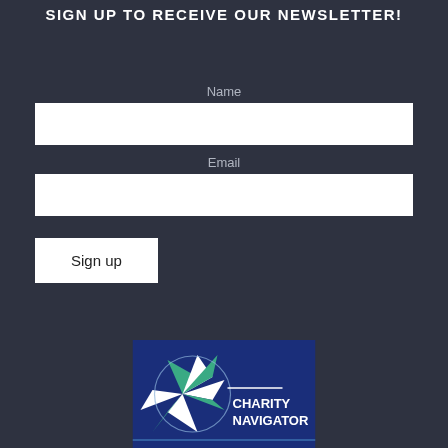SIGN UP TO RECEIVE OUR NEWSLETTER!
Name
Email
Sign up
[Figure (logo): Charity Navigator logo — blue square with a star/compass rose in green and white, with the text 'CHARITY NAVIGATOR' in white on the blue background.]